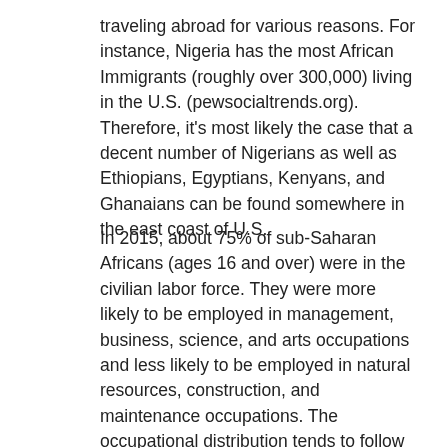traveling abroad for various reasons. For instance, Nigeria has the most African Immigrants (roughly over 300,000) living in the U.S. (pewsocialtrends.org). Therefore, it's most likely the case that a decent number of Nigerians as well as Ethiopians, Egyptians, Kenyans, and Ghanaians can be found somewhere in the east coast of U.S.
In 2015, about 75% of sub-Saharan Africans (ages 16 and over) were in the civilian labor force. They were more likely to be employed in management, business, science, and arts occupations and less likely to be employed in natural resources, construction, and maintenance occupations. The occupational distribution tends to follow the pattern of educational attainment: South African and Nigerian immigrants were the most likely to be in management positions, while Somali immigrants worked in production, transportation, and material moving occupations